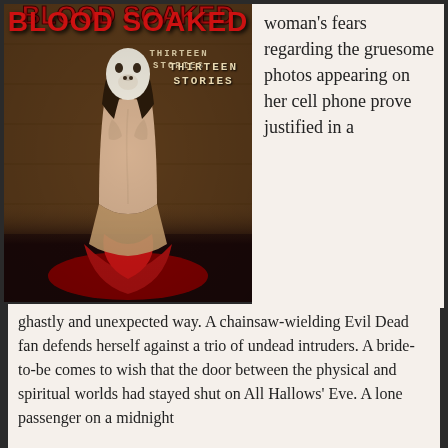[Figure (photo): Book cover of 'Blood Soaked: Thirteen Stories' showing a person kneeling with back turned, wearing a white mask, bare-backed, draped in a red garment, against a wooden wall background. Title in large red letters at top.]
woman's fears regarding the gruesome photos appearing on her cell phone prove justified in a ghastly and unexpected way. A chainsaw-wielding Evil Dead fan defends herself against a trio of undead intruders. A bride-to-be comes to wish that the door between the physical and spiritual worlds had stayed shut on All Hallows' Eve. A lone passenger on a midnight